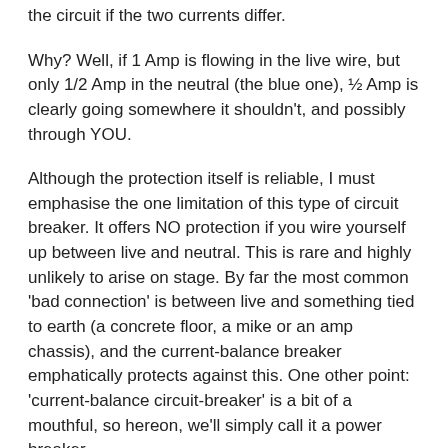the circuit if the two currents differ.
Why? Well, if 1 Amp is flowing in the live wire, but only 1/2 Amp in the neutral (the blue one), ½ Amp is clearly going somewhere it shouldn't, and possibly through YOU.
Although the protection itself is reliable, I must emphasise the one limitation of this type of circuit breaker. It offers NO protection if you wire yourself up between live and neutral. This is rare and highly unlikely to arise on stage. By far the most common 'bad connection' is between live and something tied to earth (a concrete floor, a mike or an amp chassis), and the current-balance breaker emphatically protects against this. One other point: 'current-balance circuit-breaker' is a bit of a mouthful, so hereon, we'll simply call it a power breaker.
Power breakers have two current ratings. One will be given in Amps. This is the current level the switching pechanism can safely handle when it trips out. For most purposes, this will be 13 Amps, to correspond with the mains socket's rating. But for